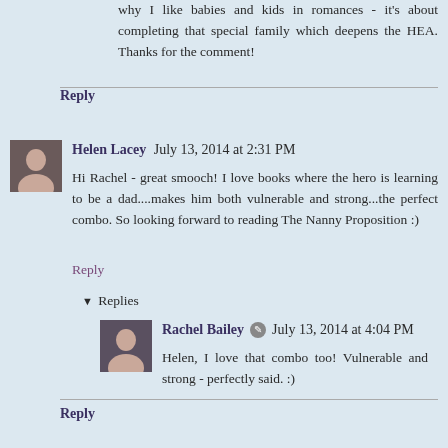why I like babies and kids in romances - it's about completing that special family which deepens the HEA. Thanks for the comment!
Reply
Helen Lacey  July 13, 2014 at 2:31 PM
Hi Rachel - great smooch! I love books where the hero is learning to be a dad....makes him both vulnerable and strong...the perfect combo. So looking forward to reading The Nanny Proposition :)
Reply
Replies
Rachel Bailey  July 13, 2014 at 4:04 PM
Helen, I love that combo too! Vulnerable and strong - perfectly said. :)
Reply